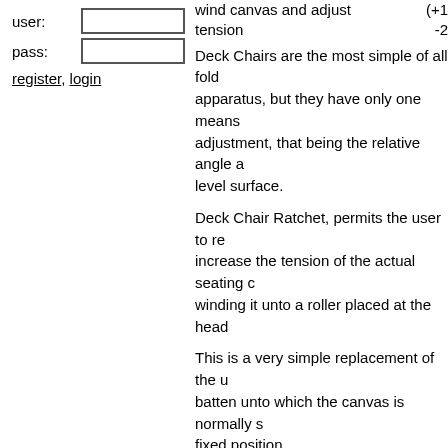user: [input] pass: [input]
register, login
wind canvas and adjust tension
(+1 -2)
Deck Chairs are the most simple of all fold apparatus, but they have only one means adjustment, that being the relative angle a level surface.
Deck Chair Ratchet, permits the user to re increase the tension of the actual seating winding it unto a roller placed at the head
This is a very simple replacement of the u batten unto which the canvas is normally s fixed position.
—xenzag,
[link]
Insufficiently HalfBaked - actually excellent idea ...
[+]
—8th of 7, Aug 21 2010
[ ] I think there's probably an opti tension, and that...